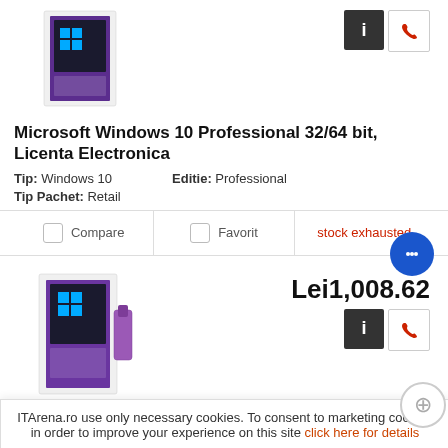[Figure (photo): Microsoft Windows 10 Professional box product image, purple and white packaging]
Microsoft Windows 10 Professional 32/64 bit, Licenta Electronica
Tip: Windows 10   Editie: Professional
Tip Pachet: Retail
Compare   Favorit   stock exhausted
[Figure (photo): Microsoft Windows 10 Pro USB box product image, purple packaging]
Lei1,008.62
Microsoft Windows 10 Pro 32/64 bit, Romana, Retail, USB
Tip: Windows 10   Editie: Professional
Tip Pachet: Retail
ITArena.ro use only necessary cookies. To consent to marketing cookies in order to improve your experience on this site click here for details